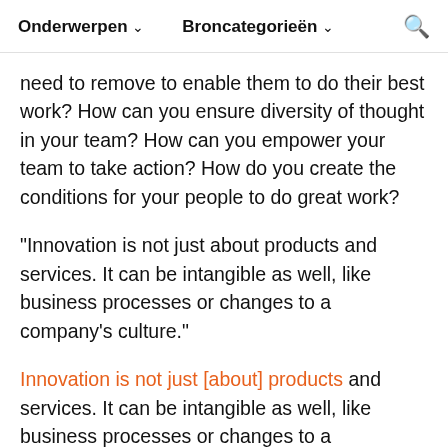Onderwerpen  Broncategorieën  🔍
need to remove to enable them to do their best work? How can you ensure diversity of thought in your team? How can you empower your team to take action? How do you create the conditions for your people to do great work?
"Innovation is not just about products and services. It can be intangible as well, like business processes or changes to a company's culture."
Innovation is not just [about] products and services. It can be intangible as well, like business processes or changes to a company's culture. So, a manager and team educated in design thinking